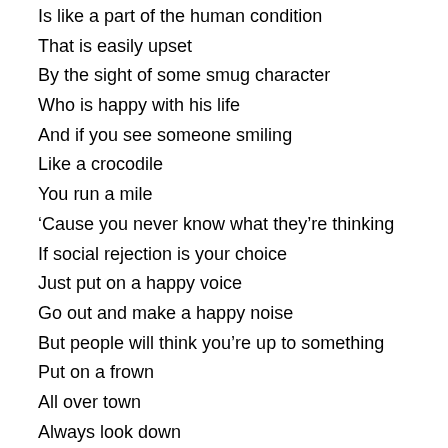Is like a part of the human condition
That is easily upset
By the sight of some smug character
Who is happy with his life
And if you see someone smiling
Like a crocodile
You run a mile
‘Cause you never know what they’re thinking
If social rejection is your choice
Just put on a happy voice
Go out and make a happy noise
But people will think you’re up to something
Put on a frown
All over town
Always look down